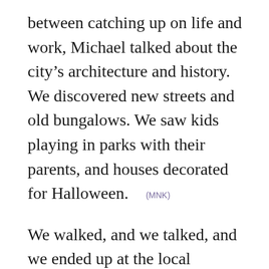between catching up on life and work, Michael talked about the city's architecture and history. We discovered new streets and old bungalows. We saw kids playing in parks with their parents, and houses decorated for Halloween. (MNK)
We walked, and we talked, and we ended up at the local elementary school, which also serves as the home for a community garden, “community” in every sense of the word. Only the students have plots; the rest of the space is community owned. Anyone in the community is free to garden any spot, weed any plot, pick vegetables and herbs from any plant. In the middle of this beautiful, old, urban neighborhood, amidst the